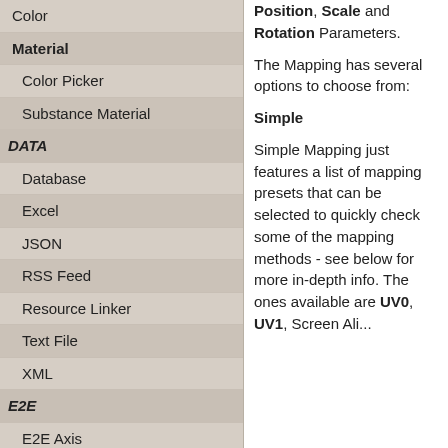Color
Material
Color Picker
Substance Material
DATA
Database
Excel
JSON
RSS Feed
Resource Linker
Text File
XML
E2E
E2E Axis
E2E Data
E2E Control
E2E Layer
Position, Scale and Rotation Parameters. The Mapping has several options to choose from:
Simple
Simple Mapping just features a list of mapping presets that can be selected to quickly check some of the mapping methods - see below for more in-depth info. The ones available are UV0, UV1, Screen Aligned...